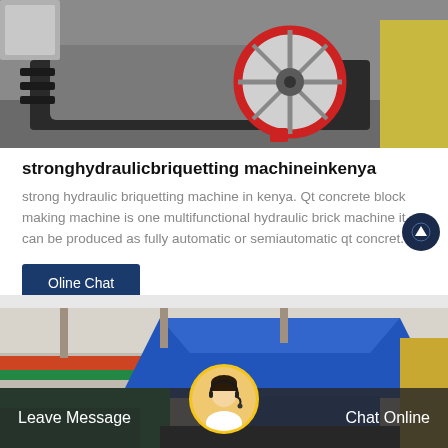[Figure (photo): Industrial hydraulic briquetting machine with a large red-rimmed wheel/flywheel on a factory floor background]
stronghydraulicbriquetting machineinkenya
strong hydraulic briquetting machine in kenya. Qt concrete block making machine is one multifunctional hydraulic brick machine it can be produced as fully automatic or semiautomatic qt concret.
Oline Chat
[Figure (photo): Industrial recycling or crushing machine with blue hopper in a factory warehouse setting]
Leave Message
Chat Online